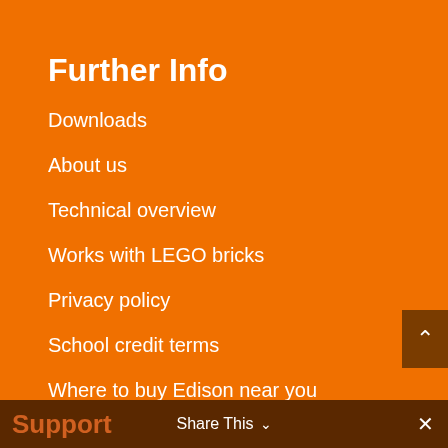Further Info
Downloads
About us
Technical overview
Works with LEGO bricks
Privacy policy
School credit terms
Where to buy Edison near you
Support
Share This
✕